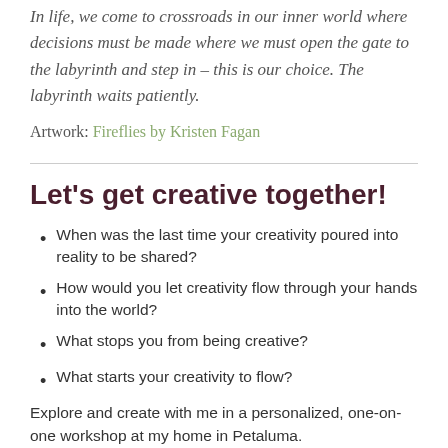In life, we come to crossroads in our inner world where decisions must be made where we must open the gate to the labyrinth and step in – this is our choice. The labyrinth waits patiently.
Artwork: Fireflies by Kristen Fagan
Let's get creative together!
When was the last time your creativity poured into reality to be shared?
How would you let creativity flow through your hands into the world?
What stops you from being creative?
What starts your creativity to flow?
Explore and create with me in a personalized, one-on-one workshop at my home in Petaluma.